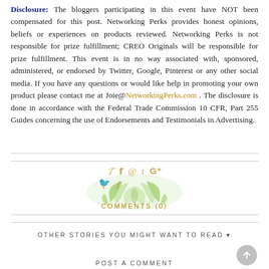Disclosure: The bloggers participating in this event have NOT been compensated for this post. Networking Perks provides honest opinions, beliefs or experiences on products reviewed. Networking Perks is not responsible for prize fulfillment; CREO Originals will be responsible for prize fulfillment. This event is in no way associated with, sponsored, administered, or endorsed by Twitter, Google, Pinterest or any other social media. If you have any questions or would like help in promoting your own product please contact me at Joie@NetworkingPerks.com . The disclosure is done in accordance with the Federal Trade Commission 10 CFR, Part 255 Guides concerning the use of Endorsements and Testimonials in Advertising.
[Figure (illustration): Floral botanical illustration with social media icons (Twitter bird, Facebook f, at symbol, Tumblr t, Google+) in gold/amber color overlaid on green leaf botanical watercolor graphic]
COMMENTS (0)
OTHER STORIES YOU MIGHT WANT TO READ ▾
POST A COMMENT